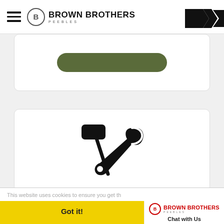Brown Brothers Peebles
[Figure (illustration): Partial green rounded button visible at top of a white card]
[Figure (illustration): Crossed hammer and wrench tools icon inside a white card with rounded border]
ACCIDENT AND REPAIR ▶
This website uses cookies to ensure you get th
Got it!
Chat with Us